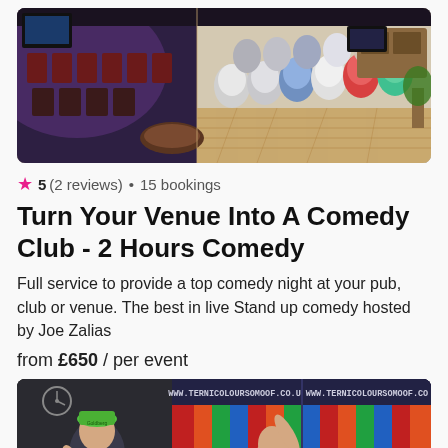[Figure (photo): Interior of a venue with chairs and tables, showing dark chairs on left side and colorful modern chairs on right side, wooden floor, purple lighting on left]
★ 5 (2 reviews) • 15 bookings
Turn Your Venue Into A Comedy Club - 2 Hours Comedy
Full service to provide a top comedy night at your pub, club or venue. The best in live Stand up comedy hosted by Joe Zalias
from £650 / per event
[Figure (photo): Photo of a comedy show with performers on stage in front of colorful backdrop with website URL www.ternicoloursomoof.co.uk displayed, performer wearing green cap]